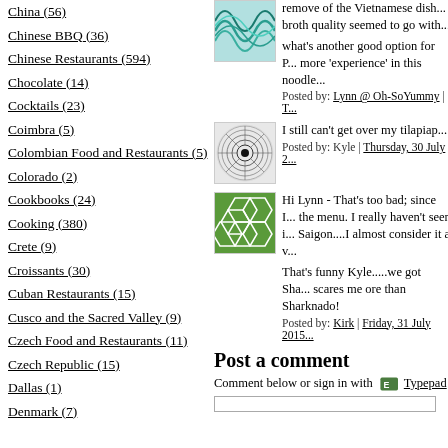China (56)
Chinese BBQ (36)
Chinese Restaurants (594)
Chocolate (14)
Cocktails (23)
Coimbra (5)
Colombian Food and Restaurants (5)
Colorado (2)
Cookbooks (24)
Cooking (380)
Crete (9)
Croissants (30)
Cuban Restaurants (15)
Cusco and the Sacred Valley (9)
Czech Food and Restaurants (11)
Czech Republic (15)
Dallas (1)
Denmark (7)
[Figure (illustration): Teal/turquoise abstract wave pattern avatar thumbnail]
remove of the Vietnamese dish... broth quality seemed to go with...
what's another good option for P... more 'experience' in this noodle...
Posted by: Lynn @ Oh-SoYummy | T...
[Figure (illustration): Black circular mandala/spiral pattern on white background avatar thumbnail]
I still can't get over my tilapiap...
Posted by: Kyle | Thursday, 30 July 2...
[Figure (illustration): Green geometric honeycomb/polygon pattern avatar thumbnail]
Hi Lynn - That's too bad; since I... the menu. I really haven't seen i... Saigon....I almost consider it a v...
That's funny Kyle.....we got Sha... scares me ore than Sharknado!
Posted by: Kirk | Friday, 31 July 2015...
Post a comment
Comment below or sign in with Typepad
[Figure (other): Input field bar at bottom]